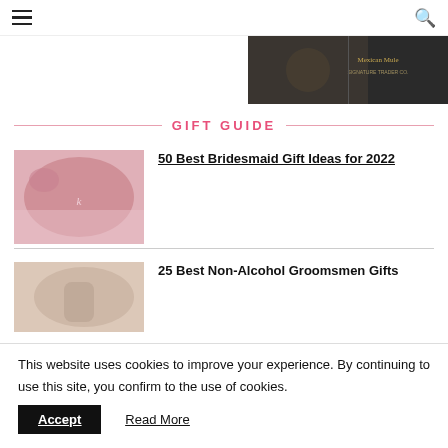navigation bar with hamburger menu and search icon
[Figure (photo): Dark background banner image with decorative drink/jar photo and text 'Mexican Mule' in script font]
GIFT GUIDE
[Figure (photo): Pink robe or fabric with gold script lettering, bridesmaid gift photo]
50 Best Bridesmaid Gift Ideas for 2022
[Figure (photo): Person holding a drink, groomsmen gifts photo]
25 Best Non-Alcohol Groomsmen Gifts
This website uses cookies to improve your experience. By continuing to use this site, you confirm to the use of cookies.
Accept   Read More